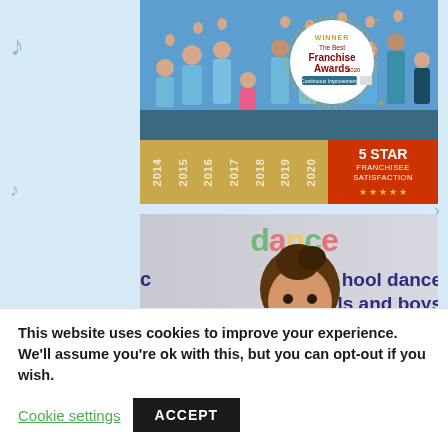[Figure (photo): Group photo of children in blue t-shirts with WINNER The Best Franchise Awards 2020 Continuous Improvement badge overlay, and a gold banner showing years 2014-2020 with 5 STAR FRANCHISEE SATISFACTION rating in red box]
[Figure (photo): Photo of a woman smiling in front of a banner reading 'dance hool dance girls and boys']
This website uses cookies to improve your experience. We'll assume you're ok with this, but you can opt-out if you wish.
Cookie settings   ACCEPT